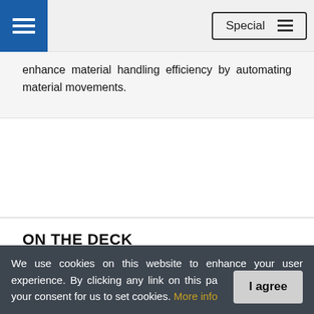Special
enhance material handling efficiency by automating material movements.
ON THE DECK
Startups APAC 2022
Top Vendors
We use cookies on this website to enhance your user experience. By clicking any link on this page you are giving your consent for us to set cookies. More info